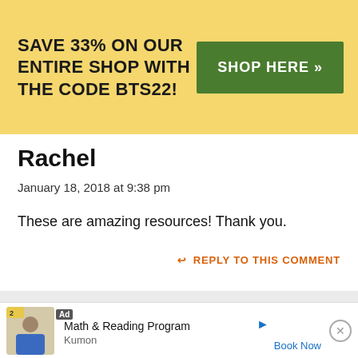[Figure (infographic): Yellow promotional banner with bold text 'SAVE 33% ON OUR ENTIRE SHOP WITH THE CODE BTS22!' and a green 'SHOP HERE >>' button]
Rachel
January 18, 2018 at 9:38 pm
These are amazing resources! Thank you.
↩ REPLY TO THIS COMMENT
Anna G
[Figure (infographic): Advertisement bar at bottom: Ad badge, image of student, 'Math & Reading Program', 'Kumon', 'Book Now' link]